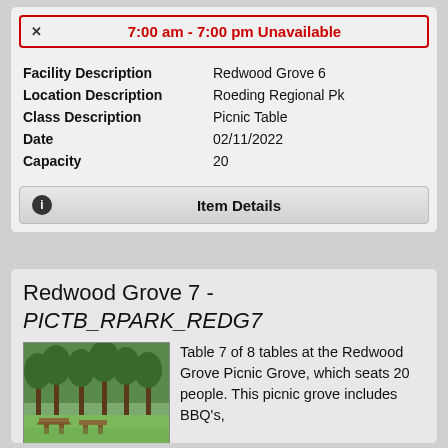7:00 am - 7:00 pm Unavailable
| Field | Value |
| --- | --- |
| Facility Description | Redwood Grove 6 |
| Location Description | Roeding Regional Pk |
| Class Description | Picnic Table |
| Date | 02/11/2022 |
| Capacity | 20 |
Item Details
Redwood Grove 7 - PICTB_RPARK_REDG7
[Figure (photo): Outdoor picnic grove with trees and picnic tables, green grass, Redwood Grove park area]
Table 7 of 8 tables at the Redwood Grove Picnic Grove, which seats 20 people. This picnic grove includes BBQ's,